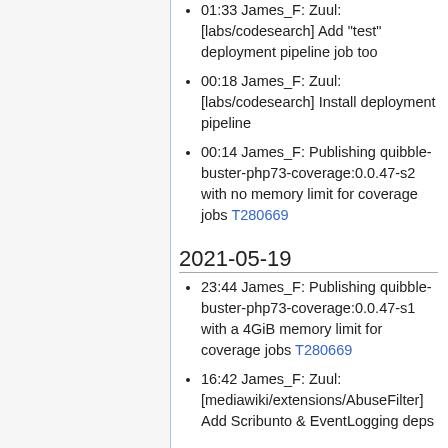01:33 James_F: Zuul: [labs/codesearch] Add "test" deployment pipeline job too
00:18 James_F: Zuul: [labs/codesearch] Install deployment pipeline
00:14 James_F: Publishing quibble-buster-php73-coverage:0.0.47-s2 with no memory limit for coverage jobs T280669
2021-05-19
23:44 James_F: Publishing quibble-buster-php73-coverage:0.0.47-s1 with a 4GiB memory limit for coverage jobs T280669
16:42 James_F: Zuul: [mediawiki/extensions/AbuseFilter] Add Scribunto & EventLogging deps